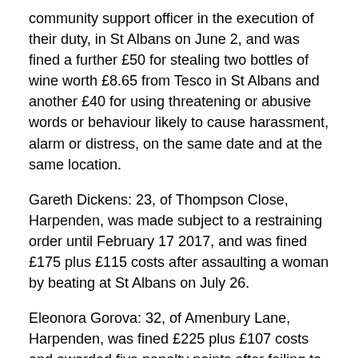community support officer in the execution of their duty, in St Albans on June 2, and was fined a further £50 for stealing two bottles of wine worth £8.65 from Tesco in St Albans and another £40 for using threatening or abusive words or behaviour likely to cause harassment, alarm or distress, on the same date and at the same location.
Gareth Dickens: 23, of Thompson Close, Harpenden, was made subject to a restraining order until February 17 2017, and was fined £175 plus £115 costs after assaulting a woman by beating at St Albans on July 26.
Eleonora Gorova: 32, of Amenbury Lane, Harpenden, was fined £225 plus £107 costs and awarded five penalty points after failing to stop following an accident in which damage was caused to another vehicle, at the A414 St Albans roundabout on February 11, and then failing to report the accident within 24